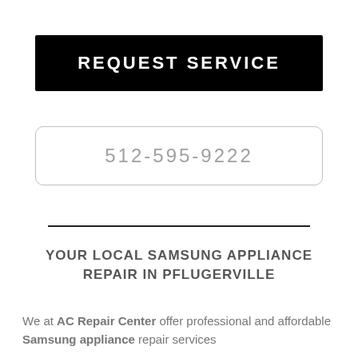REQUEST SERVICE
512-595-9222
YOUR LOCAL SAMSUNG APPLIANCE REPAIR IN PFLUGERVILLE
We at AC Repair Center offer professional and affordable Samsung appliance repair services